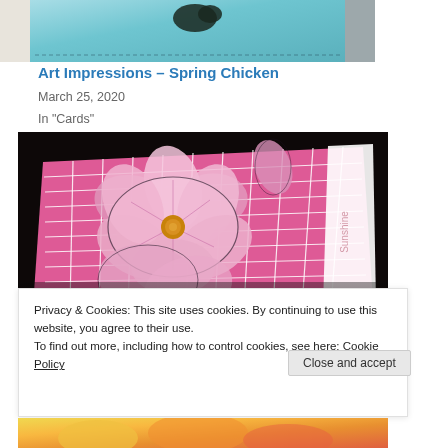[Figure (photo): Partial view of a craft card with blue/teal background and bird motif, cropped at top]
Art Impressions – Spring Chicken
March 25, 2020
In "Cards"
[Figure (photo): Handmade greeting card with pink tiled/grid background and large pink flower (magnolia) arrangement on top, photographed at an angle on black surface]
Privacy & Cookies: This site uses cookies. By continuing to use this website, you agree to their use.
To find out more, including how to control cookies, see here: Cookie Policy
Close and accept
[Figure (photo): Bottom edge of another craft image with orange/yellow floral elements visible]